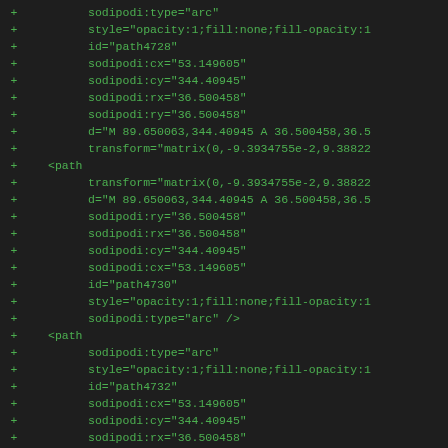diff/patch code showing SVG path attributes with + markers, including sodipodi:type, style, id, sodipodi:cx/cy/rx/ry, d, and transform attributes for path4728, path4730, path4732